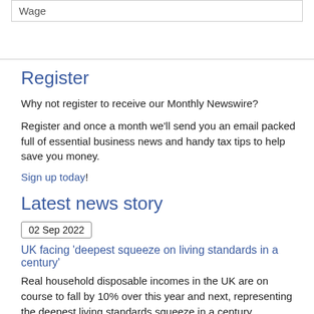| Wage |
| --- |
Register
Why not register to receive our Monthly Newswire?
Register and once a month we’ll send you an email packed full of essential business news and handy tax tips to help save you money.
Sign up today!
Latest news story
02 Sep 2022
UK facing 'deepest squeeze on living standards in a century'
Real household disposable incomes in the UK are on course to fall by 10% over this year and next, representing the deepest living standards squeeze in a century, according to the Resolution Foundation.
Address details